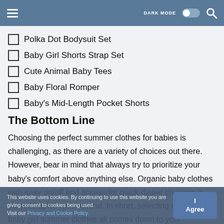≡  DARK MODE  🔍
☐ Polka Dot Bodysuit Set
☐ Baby Girl Shorts Strap Set
☐ Cute Animal Baby Tees
☐ Baby Floral Romper
☐ Baby's Mid-Length Pocket Shorts
The Bottom Line
Choosing the perfect summer clothes for babies is challenging, as there are a variety of choices out there. However, bear in mind that always try to prioritize your baby's comfort above anything else. Organic baby clothes with easy on/off and access for quick diaper changes is something we recommend. In short, selecting the best baby girl summer clothes all comes down to your
This website uses cookies. By continuing to use this website you are giving consent to cookies being used.
Visit our Privacy and Cookie Policy.